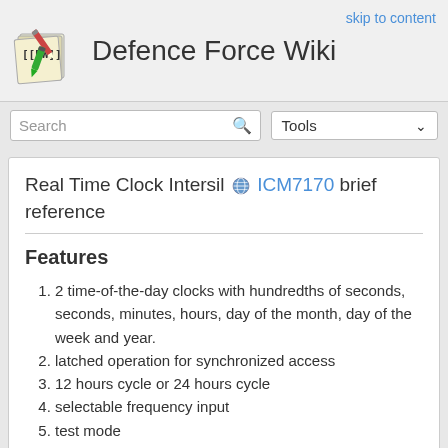Defence Force Wiki
skip to content
Real Time Clock Intersil ICM7170 brief reference
Features
2 time-of-the-day clocks with hundredths of seconds, seconds, minutes, hours, day of the month, day of the week and year.
latched operation for synchronized access
12 hours cycle or 24 hours cycle
selectable frequency input
test mode
programmable date/time alarm